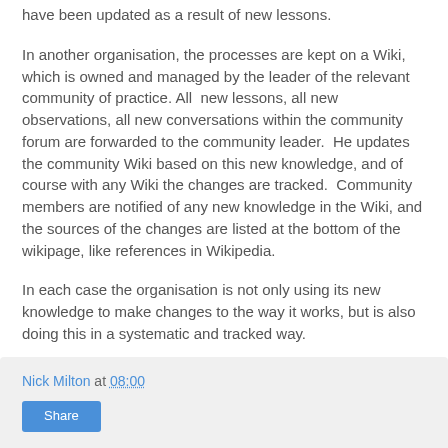have been updated as a result of new lessons.
In another organisation, the processes are kept on a Wiki, which is owned and managed by the leader of the relevant community of practice. All  new lessons, all new observations, all new conversations within the community forum are forwarded to the community leader.  He updates the community Wiki based on this new knowledge, and of course with any Wiki the changes are tracked.  Community members are notified of any new knowledge in the Wiki, and the sources of the changes are listed at the bottom of the wikipage, like references in Wikipedia.
In each case the organisation is not only using its new knowledge to make changes to the way it works, but is also doing this in a systematic and tracked way.
Nick Milton at 08:00 Share